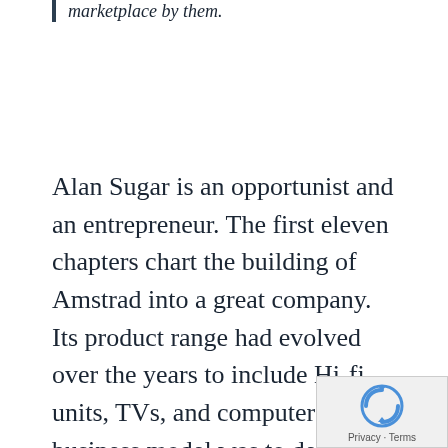marketplace by then.
Alan Sugar is an opportunist and an entrepreneur. The first eleven chapters chart the building of Amstrad into a great company. Its product range had evolved over the years to include Hi-fi units, TVs, and computers. The business model was to design excellent products and to sell them at unbelievably low prices such that marketing took care of itself. The second part of the model was to secure strong margins by managing costs, generally by placing very large orders to secure volume discounts from suppliers. But they had experience with satellite dishes – the comment